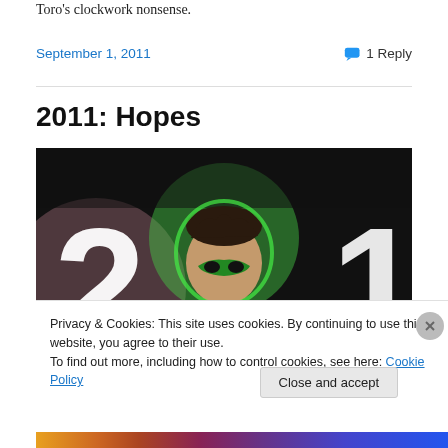Toro's clockwork nonsense.
September 1, 2011
1 Reply
2011: Hopes
[Figure (illustration): Illustration showing a masked superhero figure (Green Lantern) centered between large white numerals '2' and '1' on a dark background, suggesting the year 2011.]
Privacy & Cookies: This site uses cookies. By continuing to use this website, you agree to their use.
To find out more, including how to control cookies, see here: Cookie Policy
Close and accept